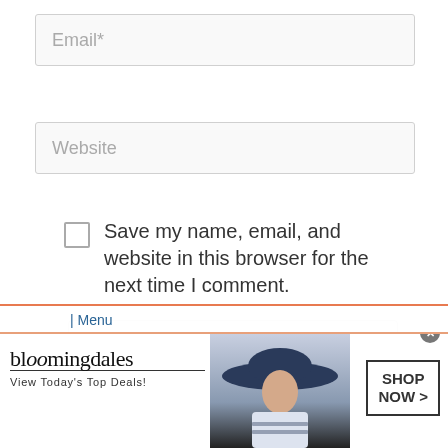[Figure (screenshot): Email input field placeholder text]
[Figure (screenshot): Website input field placeholder text]
Save my name, email, and website in this browser for the next time I comment.
[Figure (screenshot): reCAPTCHA widget with checkbox and I'm not a robot label, with reCAPTCHA logo and Terms text]
[Figure (screenshot): Bloomingdale's advertisement banner: bloomingdales, View Today's Top Deals!, SHOP NOW > button, woman with wide-brim hat]